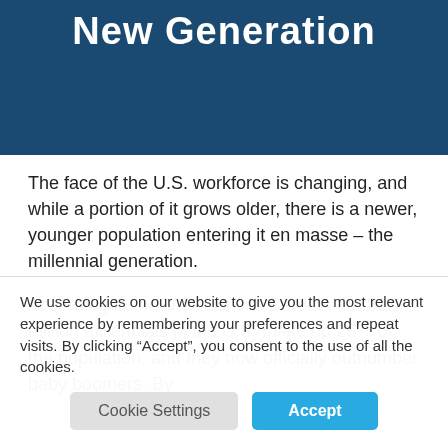New Generation
The face of the U.S. workforce is changing, and while a portion of it grows older, there is a newer, younger population entering it en masse – the millennial generation.
According to the U.S. Census Bureau, the 83.1 million millennials in the U.S. make up 25% of the population, and they now officially outnumber baby boomers. By
We use cookies on our website to give you the most relevant experience by remembering your preferences and repeat visits. By clicking “Accept”, you consent to the use of all the cookies.